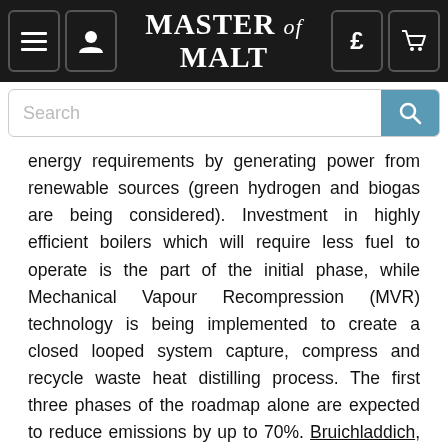MASTER of MALT
energy requirements by generating power from renewable sources (green hydrogen and biogas are being considered). Investment in highly efficient boilers which will require less fuel to operate is the part of the initial phase, while Mechanical Vapour Recompression (MVR) technology is being implemented to create a closed looped system capture, compress and recycle waste heat distilling process. The first three phases of the roadmap alone are expected to reduce emissions by up to 70%. Bruichladdich, meanwhile, is removing outer packaging across its core single malt brands starting with Port Charlotte single malt whisky. It's a step to reduce unnecessary packaging to save carbon emissions, weight and waste.